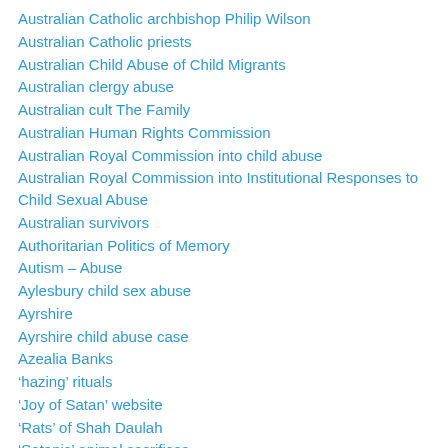Australian Catholic archbishop Philip Wilson
Australian Catholic priests
Australian Child Abuse of Child Migrants
Australian clergy abuse
Australian cult The Family
Australian Human Rights Commission
Australian Royal Commission into child abuse
Australian Royal Commission into Institutional Responses to Child Sexual Abuse
Australian survivors
Authoritarian Politics of Memory
Autism – Abuse
Aylesbury child sex abuse
Ayrshire
Ayrshire child abuse case
Azealia Banks
‘hazing’ rituals
‘Joy of Satan’ website
‘Rats’ of Shah Daulah
‘Satanic’ animal sacrifices